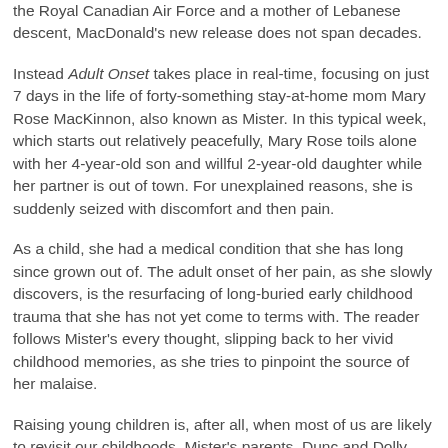the Royal Canadian Air Force and a mother of Lebanese descent, MacDonald's new release does not span decades.
Instead Adult Onset takes place in real-time, focusing on just 7 days in the life of forty-something stay-at-home mom Mary Rose MacKinnon, also known as Mister. In this typical week, which starts out relatively peacefully, Mary Rose toils alone with her 4-year-old son and willful 2-year-old daughter while her partner is out of town. For unexplained reasons, she is suddenly seized with discomfort and then pain.
As a child, she had a medical condition that she has long since grown out of. The adult onset of her pain, as she slowly discovers, is the resurfacing of long-buried early childhood trauma that she has not yet come to terms with. The reader follows Mister's every thought, slipping back to her vivid childhood memories, as she tries to pinpoint the source of her malaise.
Raising young children is, after all, when most of us are likely to revisit our childhoods. Mister's parents, Dunc and Dolly, may not seem ideal by the standards of today's helicopter parents. They are tough, as parents were in the day when it